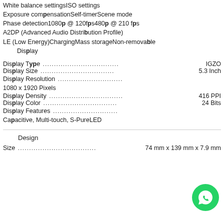White balance settingsISO settings
Exposure compensationSelf-timerScene mode
Phase detection1080p @ 120fps480p @ 210 fps
A2DP (Advanced Audio Distribution Profile)
LE (Low Energy)ChargingMass storageNon-removable Display
Display Type ............................................IGZO
Display Size .............................................5.3 Inch
Display Resolution .....................................
1080 x 1920 Pixels
Display Density ..........................................416 PPI
Display Color .............................................24 Bits
Display Features .......................................
Capacitive, Multi-touch, S-PureLED
Design
Size .......................................................74 mm x 139 mm x 7.9 mm